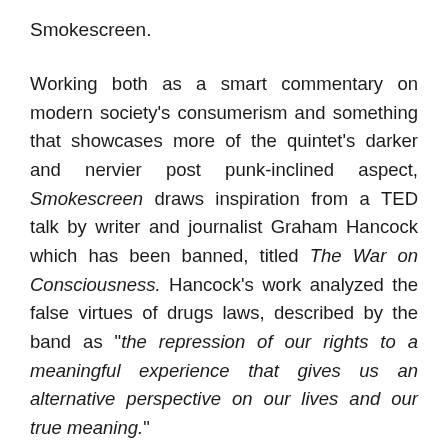Smokescreen.
Working both as a smart commentary on modern society's consumerism and something that showcases more of the quintet's darker and nervier post punk-inclined aspect, Smokescreen draws inspiration from a TED talk by writer and journalist Graham Hancock which has been banned, titled The War on Consciousness. Hancock's work analyzed the false virtues of drugs laws, described by the band as "the repression of our rights to a meaningful experience that gives us an alternative perspective on our lives and our true meaning."